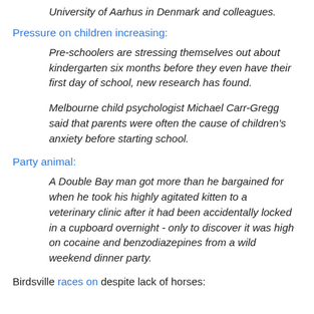University of Aarhus in Denmark and colleagues.
Pressure on children increasing:
Pre-schoolers are stressing themselves out about kindergarten six months before they even have their first day of school, new research has found.
Melbourne child psychologist Michael Carr-Gregg said that parents were often the cause of children's anxiety before starting school.
Party animal:
A Double Bay man got more than he bargained for when he took his highly agitated kitten to a veterinary clinic after it had been accidentally locked in a cupboard overnight - only to discover it was high on cocaine and benzodiazepines from a wild weekend dinner party.
Birdsville races on despite lack of horses: